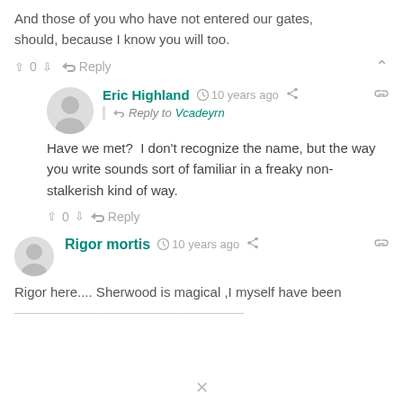And those of you who have not entered our gates, should, because I know you will too.
↑ 0 ↓  → Reply  ∧
[Figure (illustration): Grey circular avatar icon for user Eric Highland]
Eric Highland  🕐 10 years ago  < share  🔗
Reply to Vcadeyrn
Have we met?  I don't recognize the name, but the way you write sounds sort of familiar in a freaky non-stalkerish kind of way.
↑ 0 ↓  → Reply
[Figure (illustration): Grey circular avatar icon for user Rigor mortis]
Rigor mortis  🕐 10 years ago  < share  🔗
Rigor here.... Sherwood is magical ,I myself have been
×